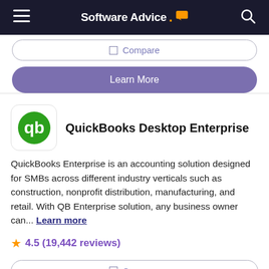Software Advice.
Compare
Learn More
QuickBooks Desktop Enterprise
QuickBooks Enterprise is an accounting solution designed for SMBs across different industry verticals such as construction, nonprofit distribution, manufacturing, and retail. With QB Enterprise solution, any business owner can... Learn more
4.5 (19,442 reviews)
Compare
Learn More